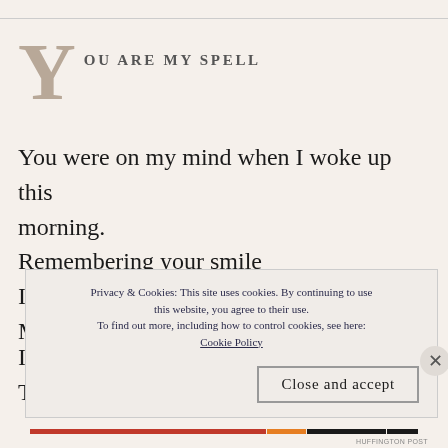YOU ARE MY SPELL
You were on my mind when I woke up this morning.
Remembering your smile
I guess the next time I'll see your face
Might take a little while.
Privacy & Cookies: This site uses cookies. By continuing to use this website, you agree to their use.
To find out more, including how to control cookies, see here:
Cookie Policy